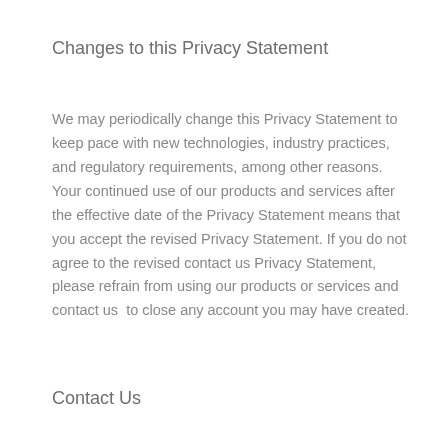Changes to this Privacy Statement
We may periodically change this Privacy Statement to keep pace with new technologies, industry practices, and regulatory requirements, among other reasons.  Your continued use of our products and services after the effective date of the Privacy Statement means that you accept the revised Privacy Statement. If you do not agree to the revised contact us Privacy Statement, please refrain from using our products or services and contact us  to close any account you may have created.
Contact Us